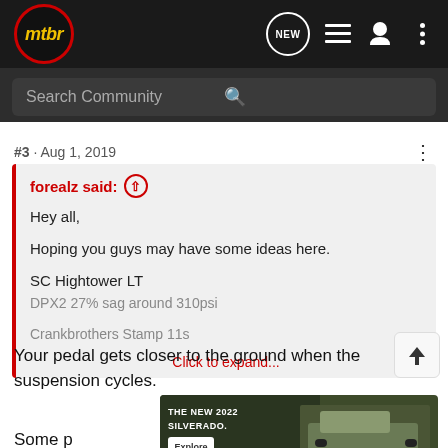[Figure (screenshot): mtbr forum website navigation bar with logo, NEW message icon, list icon, user icon, and more options icon]
[Figure (screenshot): Search Community search bar on dark background]
#3 · Aug 1, 2019
forealz said: ↑
Hey all,

Hoping you guys may have some ideas here.

SC Hightower LT
DPX2 27% sag around 310psi
Crankbrothers Stamp 11s
Click to expand...
Your pedal gets closer to the ground when the suspension cycles.
[Figure (photo): Chevrolet Silverado 2022 advertisement banner showing THE NEW 2022 SILVERADO. with an Explore button and Chevrolet logo on a dark outdoor background]
Some p